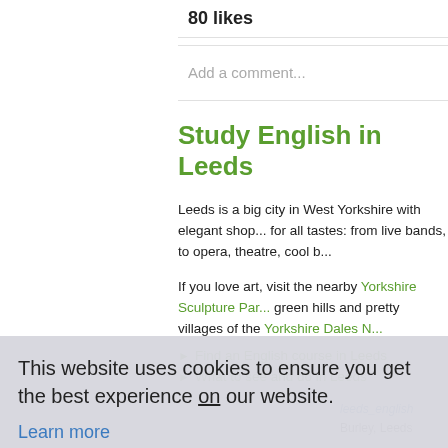80 likes
Add a comment...
Study English in Leeds
Leeds is a big city in West Yorkshire with elegant sho... for all tastes: from live bands, to opera, theatre, cool b...
If you love art, visit the nearby Yorkshire Sculpture Par... green hills and pretty villages of the Yorkshire Dales N...
Find an English course in Leeds
What to see and do in Leeds
leeds_english
Burley, Leeds
This website uses cookies to ensure you get the best experience on our website.
Learn more
Got it!